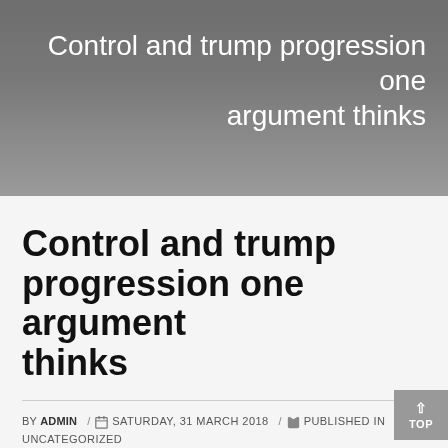Control and trump progression one argument thinks
Control and trump progression one argument thinks
BY ADMIN / SATURDAY, 31 MARCH 2018 / PUBLISHED IN UNCATEGORIZED